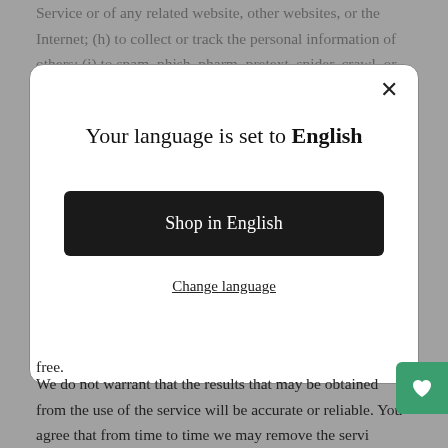Service or of any related website, other websites, or the Internet; (h) to collect or track the personal information of others; (i) to spam, phish, pharm, pretext, spider, crawl, or scrape; (j) for any obscene or immoral purpose; or (k) to interfere with or circumvent the security features of the
[Figure (screenshot): Modal dialog overlay with white rounded rectangle. Contains close button (×) in top right, title text 'Your language is set to English', a dark button 'Shop in English', and an underlined link 'Change language'.]
free.
We do not warrant that the results that may be obtained from the use of the service will be accurate or reliable. You agree that from time to time we may remove the servi